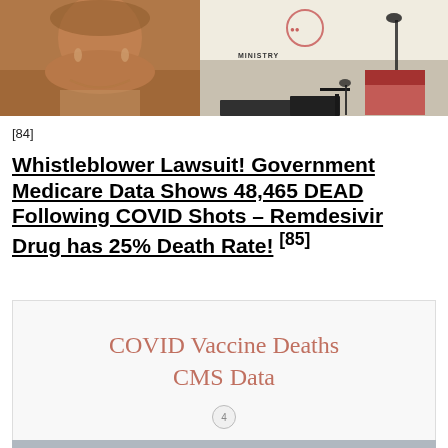[Figure (photo): Two side-by-side photos: left shows a woman's face (close-up), right shows a man in a suit at a podium with 'MINISTRY' text visible in the background.]
[84]
Whistleblower Lawsuit! Government Medicare Data Shows 48,465 DEAD Following COVID Shots – Remdesivir Drug has 25% Death Rate! [85]
[Figure (screenshot): Presentation slide with the title 'COVID Vaccine Deaths CMS Data' in salmon/rose colored serif text on a white background, with a page number circle showing '4' at the bottom center.]